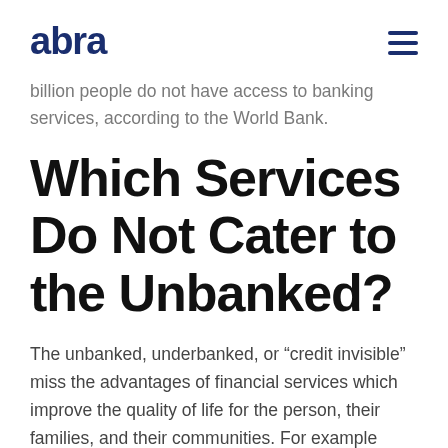abra
billion people do not have access to banking services, according to the World Bank.
Which Services Do Not Cater to the Unbanked?
The unbanked, underbanked, or “credit invisible” miss the advantages of financial services which improve the quality of life for the person, their families, and their communities. For example